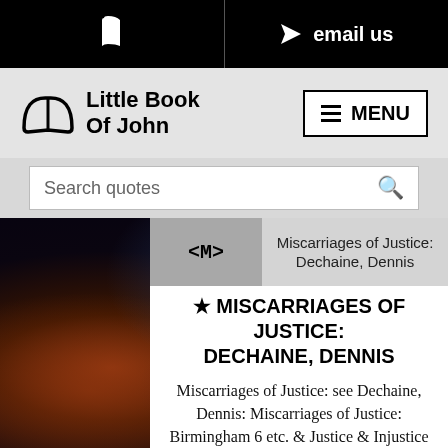phone | email us
[Figure (logo): Little Book Of John logo with open book icon and MENU button]
Search quotes
<M> | Miscarriages of Justice: Dechaine, Dennis
★ MISCARRIAGES OF JUSTICE: DECHAINE, DENNIS
Miscarriages of Justice: see Dechaine, Dennis: Miscarriages of Justice: Birmingham 6 etc. & Justice & Injustice & Law & Courts & Innocence & Jury & Judgment & Civil Liberties &